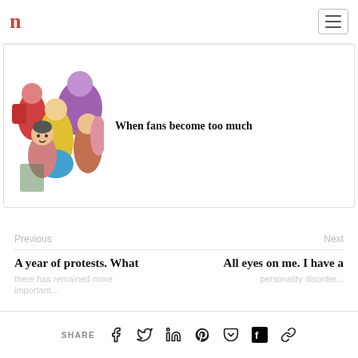n
[Figure (illustration): Colorful illustration of a crowd of people, with characters in red, yellow, blue, purple clothing]
When fans become too much
Previous
Next
A year of protests. What
All eyes on me. I have a
SHARE